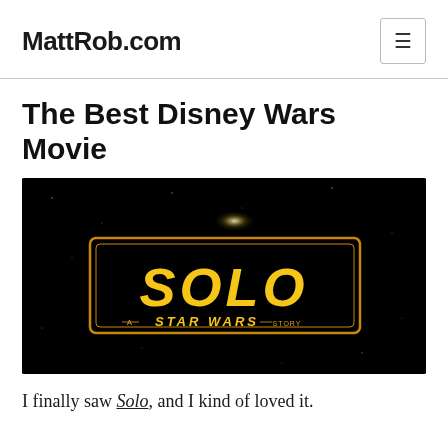MattRob.com
The Best Disney Wars Movie
[Figure (photo): Solo: A Star Wars Story movie logo on black background — yellow 'SOLO' text in a rectangular border, with 'A STAR WARS STORY' text below]
I finally saw Solo, and I kind of loved it.